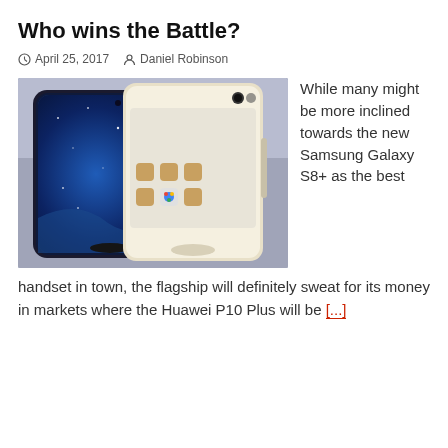Who wins the Battle?
April 25, 2017  Daniel Robinson
[Figure (photo): Two smartphones side by side: a Samsung Galaxy S8+ with curved edge display showing a starry blue wallpaper, and a Huawei P10 Plus in white/gold color showing the home screen with app icons.]
While many might be more inclined towards the new Samsung Galaxy S8+ as the best handset in town, the flagship will definitely sweat for its money in markets where the Huawei P10 Plus will be [...]